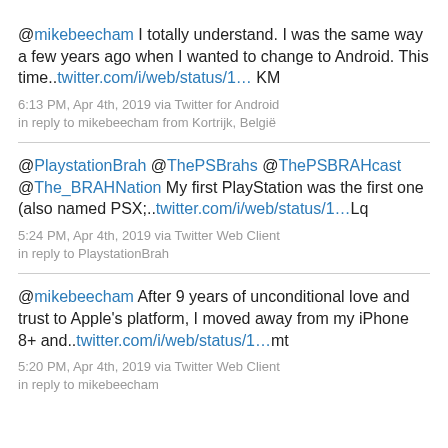@mikebeecham I totally understand. I was the same way a few years ago when I wanted to change to Android. This time..twitter.com/i/web/status/1… KM
6:13 PM, Apr 4th, 2019 via Twitter for Android in reply to mikebeecham from Kortrijk, België
@PlaystationBrah @ThePSBrahs @ThePSBRAHcast @The_BRAHNation My first PlayStation was the first one (also named PSX;..twitter.com/i/web/status/1…Lq
5:24 PM, Apr 4th, 2019 via Twitter Web Client in reply to PlaystationBrah
@mikebeecham After 9 years of unconditional love and trust to Apple's platform, I moved away from my iPhone 8+ and..twitter.com/i/web/status/1…mt
5:20 PM, Apr 4th, 2019 via Twitter Web Client in reply to mikebeecham